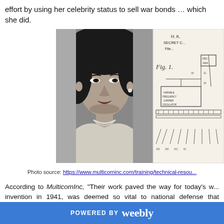effort by using her celebrity status to sell war bonds … which she did.
[Figure (photo): Left half: black and white portrait photograph of Hedy Lamarr. Right half: patent diagram showing 'Fig. 1.' with technical schematic labeled 'H. K. SECRET C... File...' with blocks and connecting lines representing a frequency-hopping communication device.]
Photo source: https://www.multicominc.com/training/technical-resou...
According to MulticomInc, "Their work paved the way for today's w... invention in 1941, was deemed so vital to national defense that govern... details." Nonetheless, the MulticomInc article also refers to Lamarr... technology."
POWERED BY weebly